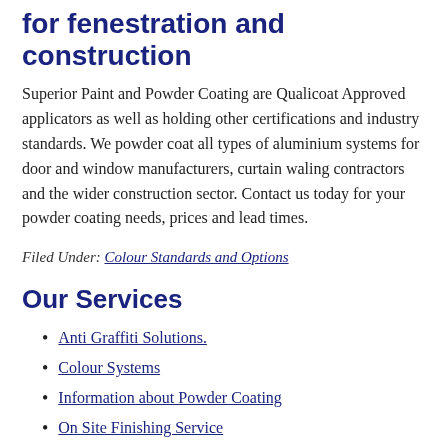for fenestration and construction
Superior Paint and Powder Coating are Qualicoat Approved applicators as well as holding other certifications and industry standards. We powder coat all types of aluminium systems for door and window manufacturers, curtain waling contractors and the wider construction sector. Contact us today for your powder coating needs, prices and lead times.
Filed Under: Colour Standards and Options
Our Services
Anti Graffiti Solutions.
Colour Systems
Information about Powder Coating
On Site Finishing Service